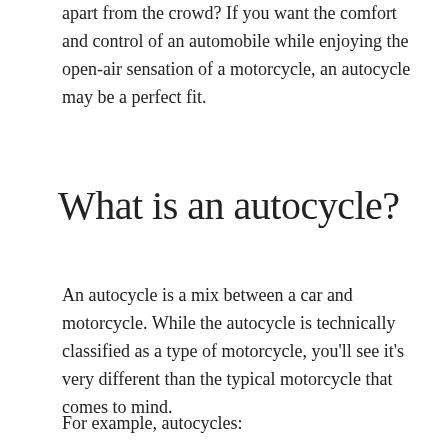apart from the crowd? If you want the comfort and control of an automobile while enjoying the open-air sensation of a motorcycle, an autocycle may be a perfect fit.
What is an autocycle?
An autocycle is a mix between a car and motorcycle. While the autocycle is technically classified as a type of motorcycle, you'll see it's very different than the typical motorcycle that comes to mind.
For example, autocycles: